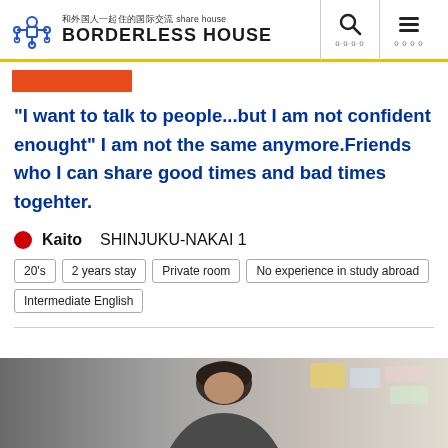和外国人一起住的国际交流 share house BORDERLESS HOUSE
"I want to talk to people...but I am not confident enought" I am not the same anymore.Friends who I can share good times and bad times togehter.
Kaito   SHINJUKU-NAKAI 1
20's
2 years stay
Private room
No experience in study abroad
Intermediate English
[Figure (photo): Photo of a young Japanese man, partially visible at the bottom of the page, with dark hair, indoors with notices/papers on wall behind]